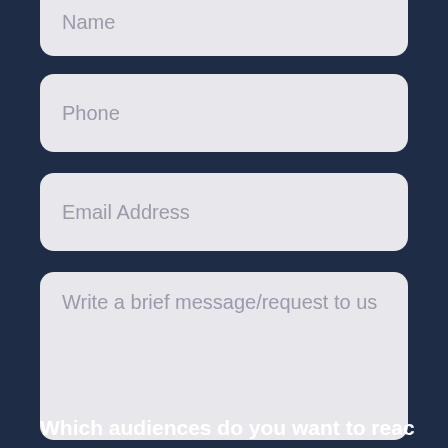Name
Phone
Email Address
Write a brief message/request to us
Which audiences do you want to reach